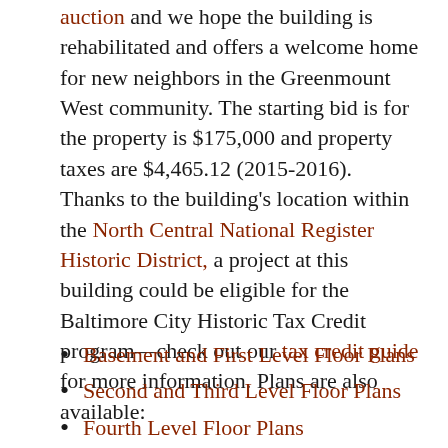auction and we hope the building is rehabilitated and offers a welcome home for new neighbors in the Greenmount West community. The starting bid is for the property is $175,000 and property taxes are $4,465.12 (2015-2016). Thanks to the building's location within the North Central National Register Historic District, a project at this building could be eligible for the Baltimore City Historic Tax Credit program—check out our tax credit guide for more information. Plans are also available:
Basement and First Level Floor Plans
Second and Third Level Floor Plans
Fourth Level Floor Plans